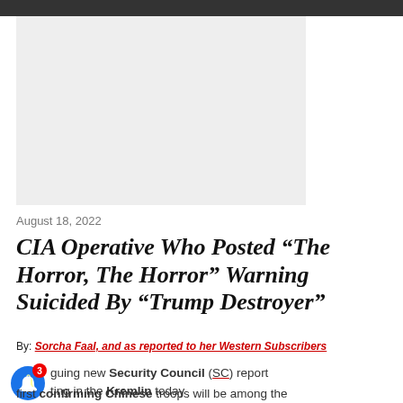[Figure (photo): Large gray placeholder image area at top of article page]
August 18, 2022
CIA Operative Who Posted “The Horror, The Horror” Warning Suicided By “Trump Destroyer”
By: Sorcha Faal, and as reported to her Western Subscribers
A...guing new Security Council (SC) report ...ting in the Kremlin today first confirming Chinese troops will be among the